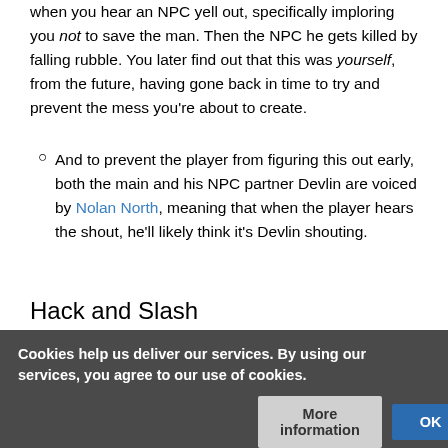when you hear an NPC yell out, specifically imploring you not to save the man. Then the NPC he gets killed by falling rubble. You later find out that this was yourself, from the future, having gone back in time to try and prevent the mess you're about to create.
And to prevent the player from figuring this out early, both the main and his NPC partner Devlin are voiced by Nolan North, meaning that when the player hears the shout, he'll likely think it's Devlin shouting.
Hack and Slash
...ame when Functional Magic dissociates him from his voice in return for the ... dragon. A fair trade-off, some would say. This carries over to the
Cookies help us deliver our services. By using our services, you agree to our use of cookies.